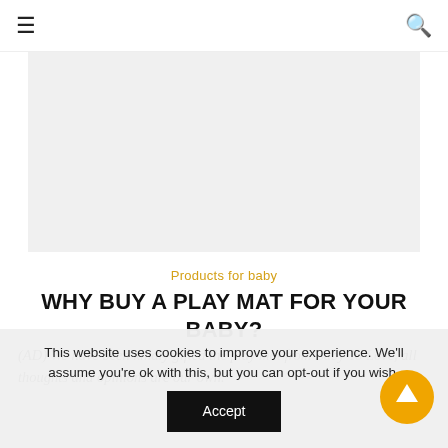≡  [navigation bar with hamburger and search icons]
[Figure (photo): Gray placeholder rectangle representing a blog article image]
Products for baby
WHY BUY A PLAY MAT FOR YOUR BABY?
(AD) We have been kindly gifted the play mat from Baby To Love, all thoughts and opinions are our own.
This website uses cookies to improve your experience. We'll assume you're ok with this, but you can opt-out if you wish. Accept